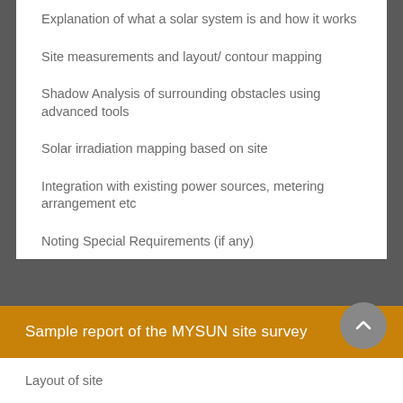Explanation of what a solar system is and how it works
Site measurements and layout/ contour mapping
Shadow Analysis of surrounding obstacles using advanced tools
Solar irradiation mapping based on site
Integration with existing power sources, metering arrangement etc
Noting Special Requirements (if any)
Sample report of the MYSUN site survey
Layout of site